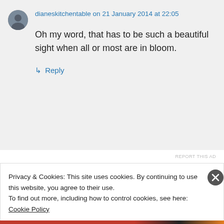dianeskitchentable on 21 January 2014 at 22:05
Oh my word, that has to be such a beautiful sight when all or most are in bloom.
↳ Reply
REPORT THIS AD
Privacy & Cookies: This site uses cookies. By continuing to use this website, you agree to their use.
To find out more, including how to control cookies, see here: Cookie Policy
Close and accept